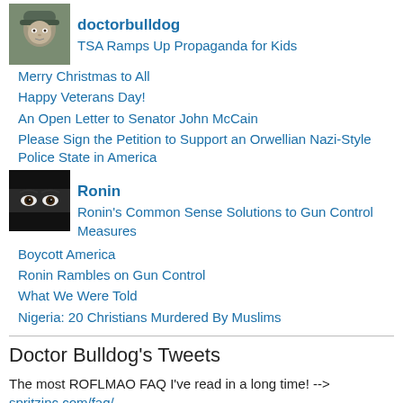[Figure (photo): Avatar image of doctorbulldog - person in military/camouflage style]
doctorbulldog
TSA Ramps Up Propaganda for Kids
Merry Christmas to All
Happy Veterans Day!
An Open Letter to Senator John McCain
Please Sign the Petition to Support an Orwellian Nazi-Style Police State in America
[Figure (photo): Avatar image of Ronin - person with eyes visible above dark covering]
Ronin
Ronin's Common Sense Solutions to Gun Control Measures
Boycott America
Ronin Rambles on Gun Control
What We Were Told
Nigeria: 20 Christians Murdered By Muslims
Doctor Bulldog's Tweets
The most ROFLMAO FAQ I've read in a long time! --> spritzinc.com/faq/ Atlas Shrug-ites & Bob Costas fans beware! 8 years ago
Congrats to Merry Christmas to all...